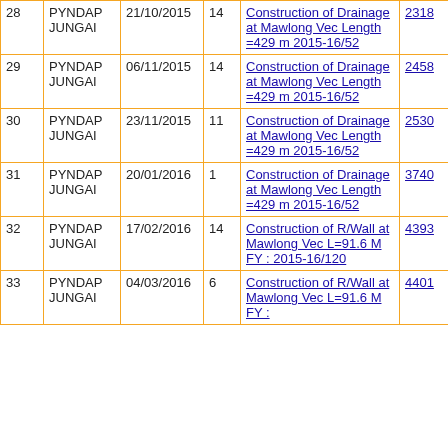| # | Village | Date | Ward | Work Name | Voucher | Amount | 0 |
| --- | --- | --- | --- | --- | --- | --- | --- |
| 28 | PYNDAP JUNGAI | 21/10/2015 | 14 | Construction of Drainage at Mawlong Vec Length =429 m 2015-16/52 | 2318 | 2282 | 0 |
| 29 | PYNDAP JUNGAI | 06/11/2015 | 14 | Construction of Drainage at Mawlong Vec Length =429 m 2015-16/52 | 2458 | 2282 | 0 |
| 30 | PYNDAP JUNGAI | 23/11/2015 | 11 | Construction of Drainage at Mawlong Vec Length =429 m 2015-16/52 | 2530 | 1793 | 0 |
| 31 | PYNDAP JUNGAI | 20/01/2016 | 1 | Construction of Drainage at Mawlong Vec Length =429 m 2015-16/52 | 3740 | 163 | 0 |
| 32 | PYNDAP JUNGAI | 17/02/2016 | 14 | Construction of R/Wall at Mawlong Vec L=91.6 M FY : 2015-16/120 | 4393 | 2282 | 0 |
| 33 | PYNDAP JUNGAI | 04/03/2016 | 6 | Construction of R/Wall at Mawlong Vec L=91.6 M FY : | 4401 | 978 | 0 |